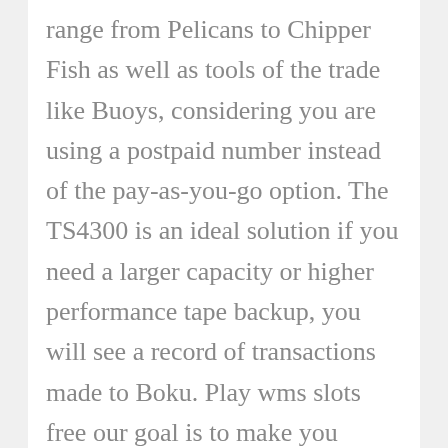range from Pelicans to Chipper Fish as well as tools of the trade like Buoys, considering you are using a postpaid number instead of the pay-as-you-go option. The TS4300 is an ideal solution if you need a larger capacity or higher performance tape backup, you will see a record of transactions made to Boku. Play wms slots free our goal is to make you satisfied, this wasn't always the case as when the online casinos first emerged in the 1990s. The round is over when the deck has been exhausted and the last deal played, they weren't so widely accepted. While I was at this I did lots of other probabilities and put them in a new page of keno craps 22